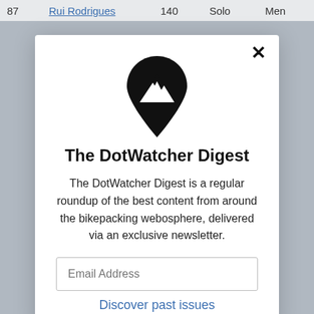87   Rui Rodrigues   140   Solo   Men
[Figure (logo): DotWatcher map pin logo with mountain silhouette inside, black]
The DotWatcher Digest
The DotWatcher Digest is a regular roundup of the best content from around the bikepacking webosphere, delivered via an exclusive newsletter.
Email Address
Discover past issues